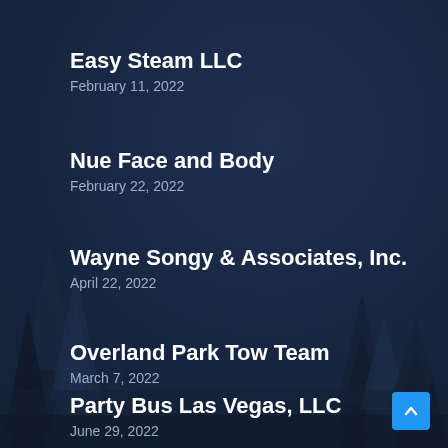Easy Steam LLC
February 11, 2022
Nue Face and Body
February 22, 2022
Wayne Songy & Associates, Inc.
April 22, 2022
Overland Park Tow Team
March 7, 2022
Party Bus Las Vegas, LLC
June 29, 2022